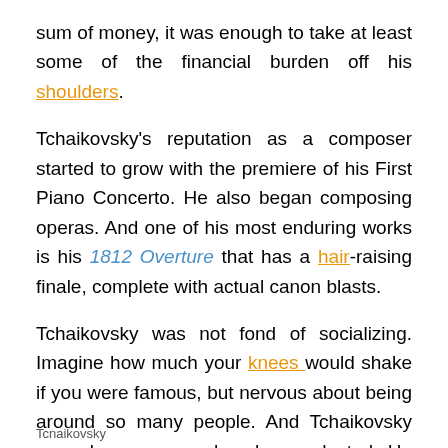sum of money, it was enough to take at least some of the financial burden off his shoulders.
Tchaikovsky's reputation as a composer started to grow with the premiere of his First Piano Concerto. He also began composing operas. And one of his most enduring works is his 1812 Overture that has a hair-raising finale, complete with actual canon blasts.
Tchaikovsky was not fond of socializing. Imagine how much your knees would shake if you were famous, but nervous about being around so many people. And Tchaikovsky was also nervous when he conducted. He would only conduct with one hand because he used the other to hold onto his head. He was afraid his head would fall off as he conducted!
Tcnaikovsky